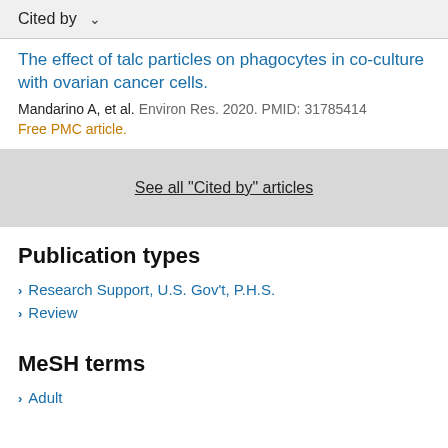Cited by
The effect of talc particles on phagocytes in co-culture with ovarian cancer cells.
Mandarino A, et al. Environ Res. 2020. PMID: 31785414
Free PMC article.
See all "Cited by" articles
Publication types
Research Support, U.S. Gov't, P.H.S.
Review
MeSH terms
Adult